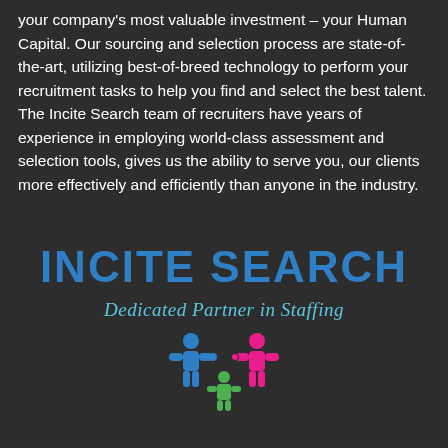your company's most valuable investment – your Human Capital. Our sourcing and selection process are state-of-the-art, utilizing best-of-breed technology to perform your recruitment tasks to help you find and select the best talent. The Incite Search team of recruiters have years of experience in employing world-class assessment and selection tools, gives us the ability to serve you, our clients more effectively and efficiently than anyone in the industry.
INCITE SEARCH
Dedicated Partner in Staffing
[Figure (logo): Three puzzle piece figures (people-shaped) in blue, green, and pink/magenta interlocking together]